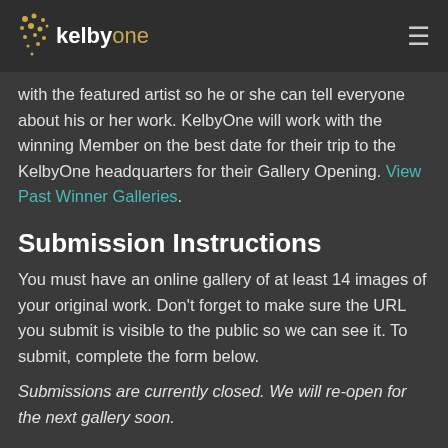kelbyone
with the featured artist so he or she can tell everyone about his or her work. KelbyOne will work with the winning Member on the best date for their trip to the KelbyOne headquarters for their Gallery Opening. View Past Winner Galleries.
Submission Instructions
You must have an online gallery of at least 14 images of your original work. Don't forget to make sure the URL you submit is visible to the public so we can see it. To submit, complete the form below.
Submissions are currently closed. We will re-open for the next gallery soon.